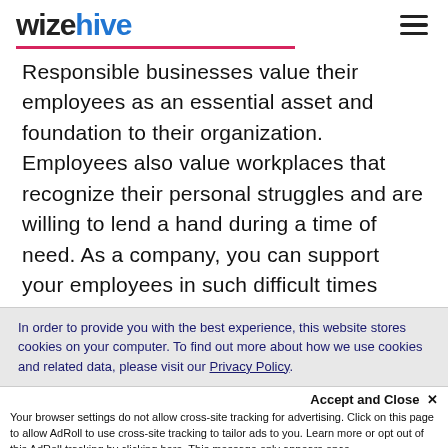wizehive
Responsible businesses value their employees as an essential asset and foundation to their organization. Employees also value workplaces that recognize their personal struggles and are willing to lend a hand during a time of need. As a company, you can support your employees in such difficult times
In order to provide you with the best experience, this website stores cookies on your computer. To find out more about how we use cookies and related data, please visit our Privacy Policy.
Accept and Close ✕
Your browser settings do not allow cross-site tracking for advertising. Click on this page to allow AdRoll to use cross-site tracking to tailor ads to you. Learn more or opt out of this AdRoll tracking by clicking here. This message only appears once.